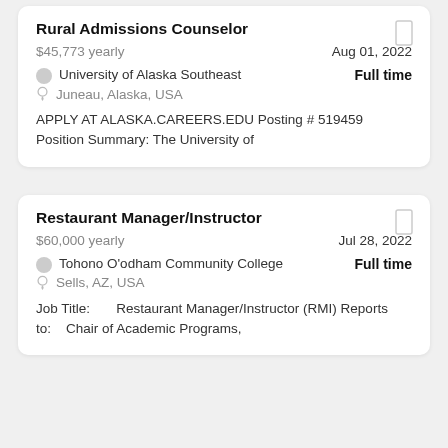Rural Admissions Counselor
$45,773 yearly
Aug 01, 2022
University of Alaska Southeast
Full time
Juneau, Alaska, USA
APPLY AT ALASKA.CAREERS.EDU Posting # 519459 Position Summary: The University of
Restaurant Manager/Instructor
$60,000 yearly
Jul 28, 2022
Tohono O'odham Community College
Full time
Sells, AZ, USA
Job Title:       Restaurant Manager/Instructor (RMI) Reports to:    Chair of Academic Programs,